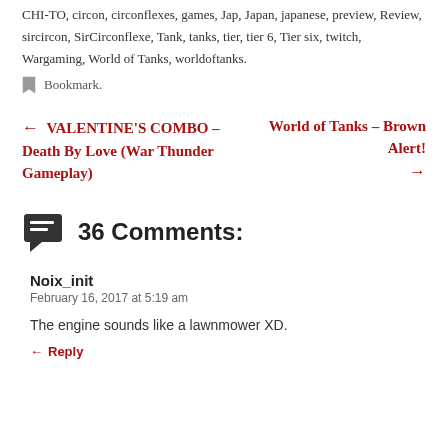CHI-TO, circon, circonflexes, games, Jap, Japan, japanese, preview, Review, sircircon, SirCirconflexe, Tank, tanks, tier, tier 6, Tier six, twitch, Wargaming, World of Tanks, worldoftanks.
Bookmark.
← VALENTINE'S COMBO – Death By Love (War Thunder Gameplay)
World of Tanks – Brown Alert! →
36 Comments:
Noix_init
February 16, 2017 at 5:19 am
The engine sounds like a lawnmower XD.
Reply